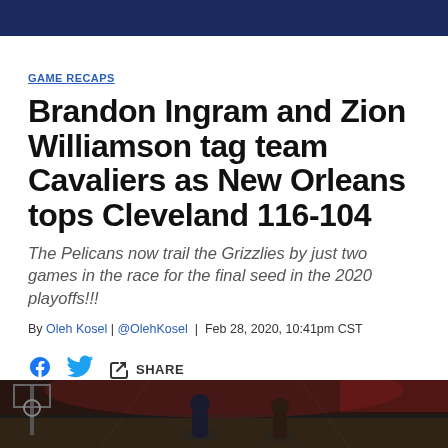GAME RECAPS
Brandon Ingram and Zion Williamson tag team Cavaliers as New Orleans tops Cleveland 116-104
The Pelicans now trail the Grizzlies by just two games in the race for the final seed in the 2020 playoffs!!!
By Oleh Kosel | @OlehKosel | Feb 28, 2020, 10:41pm CST
[Figure (other): Social share bar with Facebook, Twitter, and share link icons]
[Figure (photo): Basketball game photo showing arena with players, dark/dimly lit crowd scene]